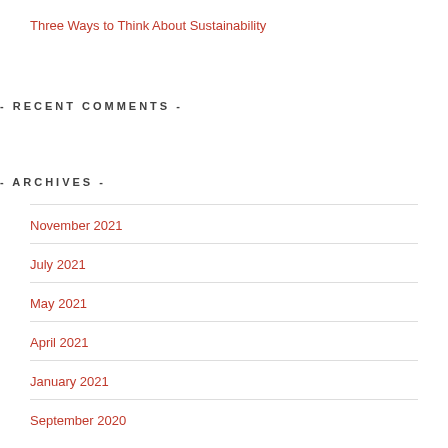Three Ways to Think About Sustainability
- RECENT COMMENTS -
- ARCHIVES -
November 2021
July 2021
May 2021
April 2021
January 2021
September 2020